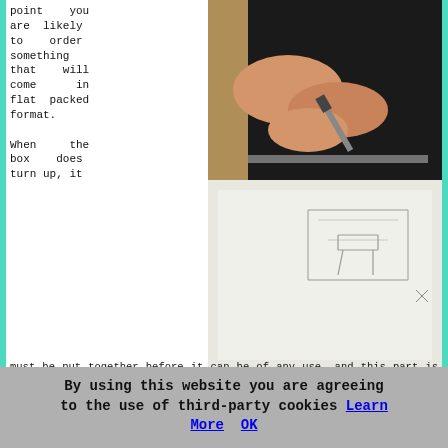point you are likely to order something that will come in flat packed format. When the box does turn up, it
[Figure (photo): Hands using a screwdriver/tool to assemble flat-pack furniture, with assembly instructions/drawings visible on a white surface below.]
must be put together before it can be of any use, and this part is the problem for a lot of folks in Tunbridge Wells who aren't capable of this stuff. If this is true of your situation, perhaps you ought to contact your all too capable handyman. Nearly all handymen will be acquainted with this work and will quickly build children's furniture, stools, bedside cabinets, dressing tables, dining tables, beds, chests of drawers, bookcases, kitchen units, wardrobes, trampolines, dining chairs, coffee tables and office furniture. (Tags: Flat Pack Construction Tunbridge Wells, Flat Pack Assembly Tunbridge Wells, Furniture Assembly Tunbridge Wells)
By using this website you are agreeing to the use of third-party cookies Learn More OK